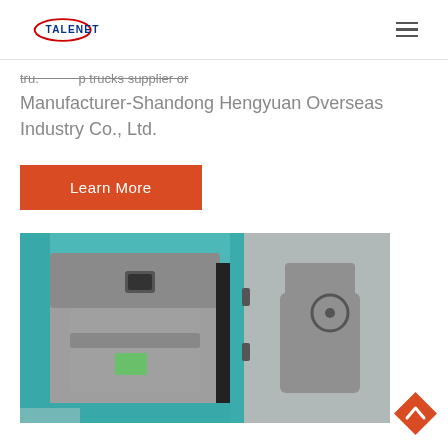TALENET (logo) — navigation header with hamburger menu
Tru... p trucks supplier or Manufacturer-Shandong Hengyuan Overseas Industry Co., Ltd.
Learn More
[Figure (photo): Open door of a teal/cyan colored truck cab showing gray interior door panel with window control button and a green label sticker, and the driver seat visible through the open door.]
[Figure (other): Orange diamond-shaped back-to-top button with upward chevron arrow]